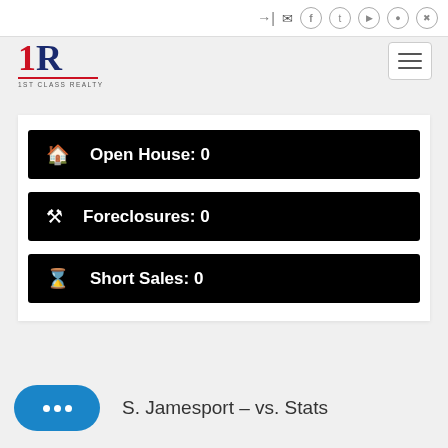1ST CLASS REALTY — navigation header with social icons
[Figure (logo): 1st Class Realty logo: red '1' and blue 'R' with red underline and '1ST CLASS REALTY' text below]
Open House: 0
Foreclosures: 0
Short Sales: 0
S. Jamesport - vs. Stats